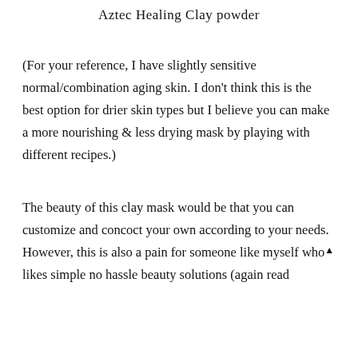Aztec Healing Clay powder
(For your reference, I have slightly sensitive normal/combination aging skin. I don't think this is the best option for drier skin types but I believe you can make a more nourishing & less drying mask by playing with different recipes.)
The beauty of this clay mask would be that you can customize and concoct your own according to your needs.
However, this is also a pain for someone like myself who likes simple no hassle beauty solutions (again read